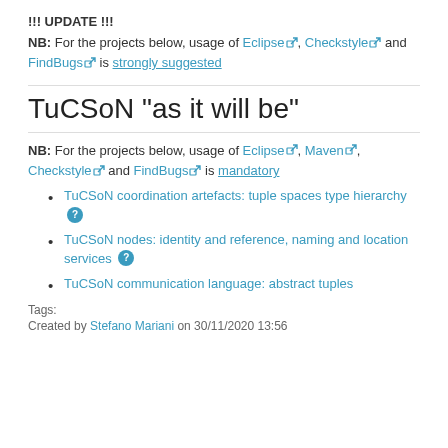!!! UPDATE !!!
NB: For the projects below, usage of Eclipse, Checkstyle and FindBugs is strongly suggested
TuCSoN "as it will be"
NB: For the projects below, usage of Eclipse, Maven, Checkstyle and FindBugs is mandatory
TuCSoN coordination artefacts: tuple spaces type hierarchy
TuCSoN nodes: identity and reference, naming and location services
TuCSoN communication language: abstract tuples
Tags:
Created by Stefano Mariani on 30/11/2020 13:56